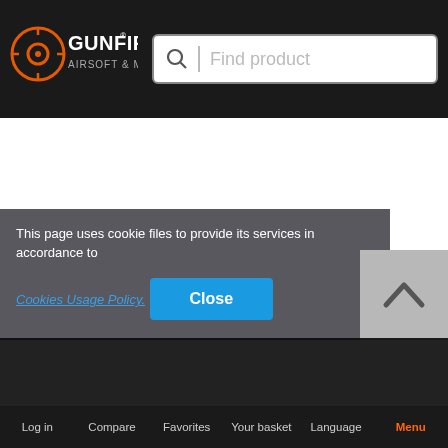[Figure (logo): Gunfire Airsoft & More logo with orange circular target icon on dark background]
Find product
This page uses cookie files to provide its services in accordance to Cookies Usage Policy.
Close
Log in   Compare   Favorites   Your basket   Language   Menu